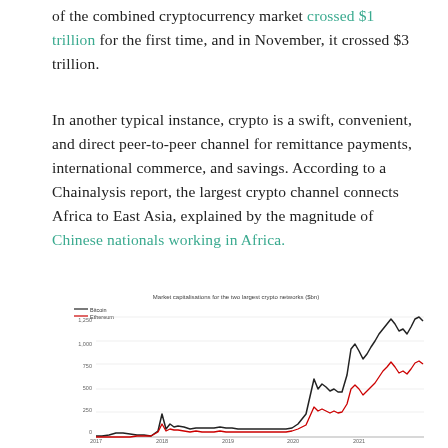of the combined cryptocurrency market crossed $1 trillion for the first time, and in November, it crossed $3 trillion.
In another typical instance, crypto is a swift, convenient, and direct peer-to-peer channel for remittance payments, international commerce, and savings. According to a Chainalysis report, the largest crypto channel connects Africa to East Asia, explained by the magnitude of Chinese nationals working in Africa.
[Figure (line-chart): Market capitalisations for the two largest crypto networks ($bn)]